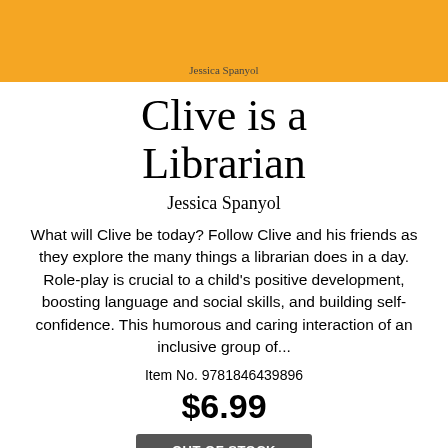[Figure (illustration): Book cover image with orange/amber background showing 'Jessica Spanyol' author name at bottom of cover]
Clive is a Librarian
Jessica Spanyol
What will Clive be today? Follow Clive and his friends as they explore the many things a librarian does in a day. Role-play is crucial to a child's positive development, boosting language and social skills, and building self-confidence. This humorous and caring interaction of an inclusive group of...
Item No. 9781846439896
$6.99
OUT OF STOCK